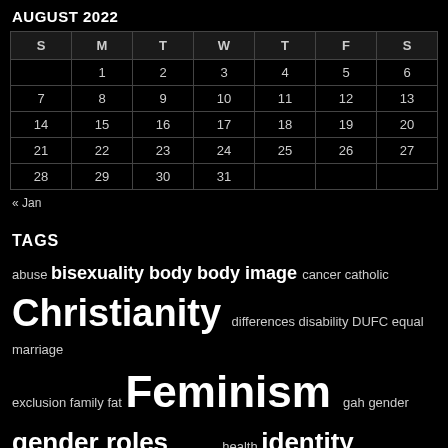AUGUST 2022
| S | M | T | W | T | F | S |
| --- | --- | --- | --- | --- | --- | --- |
|  | 1 | 2 | 3 | 4 | 5 | 6 |
| 7 | 8 | 9 | 10 | 11 | 12 | 13 |
| 14 | 15 | 16 | 17 | 18 | 19 | 20 |
| 21 | 22 | 23 | 24 | 25 | 26 | 27 |
| 28 | 29 | 30 | 31 |  |  |  |
« Jan
TAGS
abuse bisexuality body body image cancer catholic Christianity differences disability DUFC equal marriage exclusion family fat Feminism gah gender gender roles … health identity